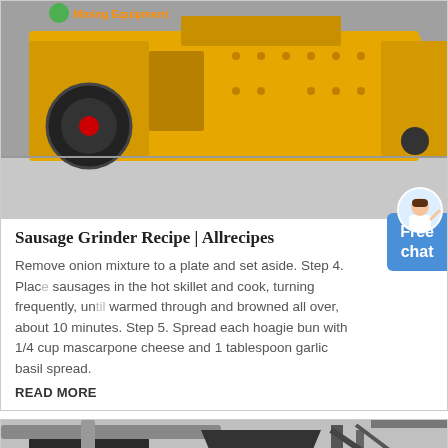[Figure (photo): Yellow industrial mining/crushing machine equipment in a factory/warehouse setting. Green logo and orange text partially visible at top.]
Sausage Grinder Recipe | Allrecipes
Remove onion mixture to a plate and set aside. Step 4. Place sausages in the hot skillet and cook, turning frequently, until warmed through and browned all over, about 10 minutes. Step 5. Spread each hoagie bun with 1/4 cup mascarpone cheese and 1 tablespoon garlic basil spread.
READ MORE
[Figure (photo): Black and white industrial machinery/equipment in a workshop or factory setting.]